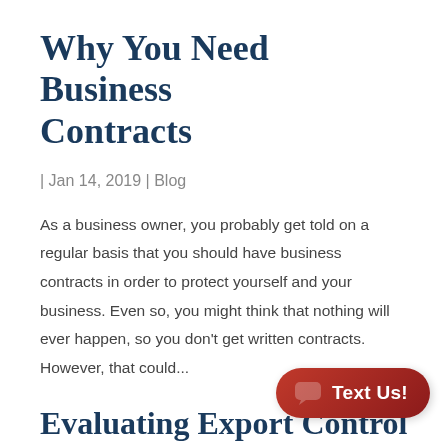Why You Need Business Contracts
| Jan 14, 2019 | Blog
As a business owner, you probably get told on a regular basis that you should have business contracts in order to protect yourself and your business. Even so, you might think that nothing will ever happen, so you don't get written contracts. However, that could...
Evaluating Export Control Practices Amid a Business